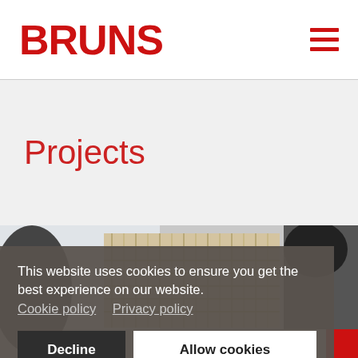BRUNS
Projects
[Figure (photo): Photo strip showing people working at desks with baskets/shelving in a modern office environment]
This website uses cookies to ensure you get the best experience on our website. Cookie policy  Privacy policy
Decline    Allow cookies